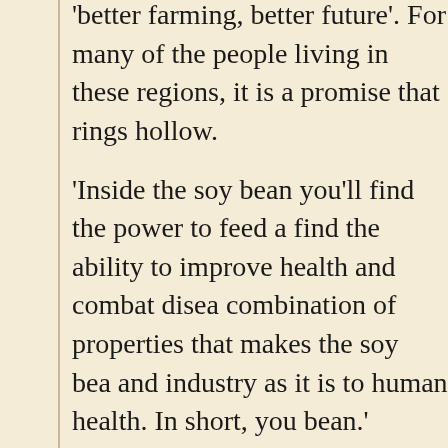'better farming, better future'. For many of the people living in these regions, it is a promise that rings hollow.
'Inside the soy bean you'll find the power to feed a hungry world, find the ability to improve health and combat disease, find the combination of properties that makes the soy bean as valuable to food and industry as it is to human health. In short, you'll find the bean.'
This is the world according to a brochure published by Archer Daniel Midlands, one of the handful of corporations that today controls the multi-billion dollar soy industry. Along with Cargill and Louis Dreyfuss.
Every weekday morning at 8:30am the bell rings at the Chicago Board of Trade to announce the beginning of the day's action. Dozens of traders, in their famous bright-colored jackets, wave their arms in the air to try to make a few bucks for their investment clients on guessing what the price of soy will be.
Today soy is traded as an international commodity and its price is based on estimates of weather patterns, demand for animal feed and other pressures the price will rise or fall. By the end of th